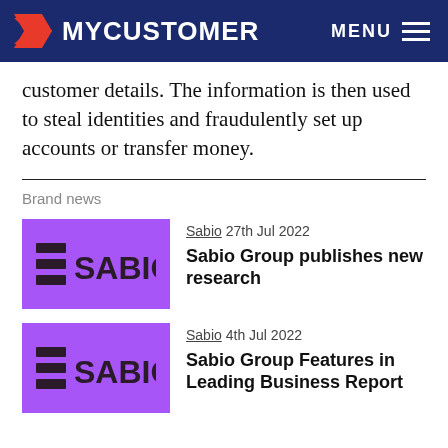MYCUSTOMER   MENU
customer details. The information is then used to steal identities and fraudulently set up accounts or transfer money.
Brand news
[Figure (logo): Sabio logo on purple background]
Sabio  27th Jul 2022
Sabio Group publishes new research
[Figure (logo): Sabio logo on purple background]
Sabio  4th Jul 2022
Sabio Group Features in Leading Business Report